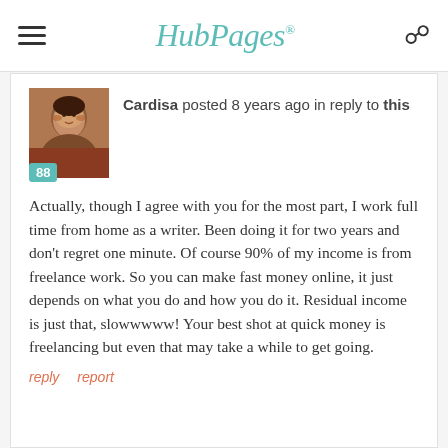HubPages
Cardisa posted 8 years ago in reply to this
Actually, though I agree with you for the most part, I work full time from home as a writer. Been doing it for two years and don't regret one minute. Of course 90% of my income is from freelance work. So you can make fast money online, it just depends on what you do and how you do it. Residual income is just that, slowwwww! Your best shot at quick money is freelancing but even that may take a while to get going.
reply   report